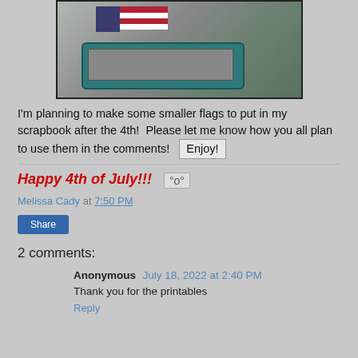[Figure (photo): Photo of an American flag printout and a blue paper cutter/trimmer tool on a beige carpet background]
I'm planning to make some smaller flags to put in my scrapbook after the 4th!  Please let me know how you all plan to use them in the comments!  Enjoy!
Happy 4th of July!!!  °o°
Melissa Cady at 7:50 PM
Share
2 comments:
Anonymous  July 18, 2022 at 2:40 PM
Thank you for the printables
Reply